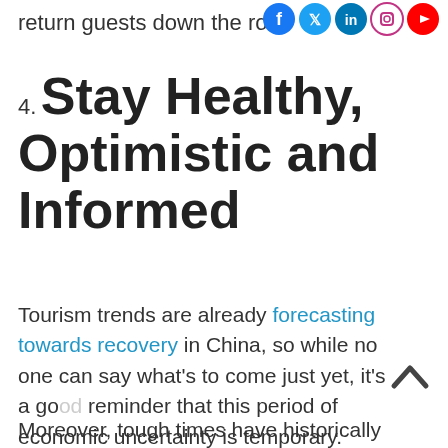return guests down the road
[Figure (illustration): Social media icons: Facebook, Twitter, LinkedIn, Instagram, YouTube]
4. Stay Healthy, Optimistic and Informed
Tourism trends are already forecasting towards recovery in China, so while no one can say what’s to come just yet, it’s a good reminder that this period of economic uncertainty is temporary.
Moreover, tough times have historically